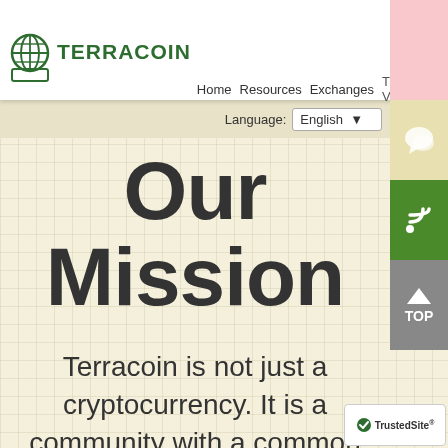[Figure (screenshot): Terracoin website navigation bar with logo, nav links (Home, Resources, Exchanges, TRC Vitals, Team), language selector set to English, side buttons (chat, RSS, TOP), and main content showing 'Our Mission' heading and body text 'Terracoin is not just a cryptocurrency. It is a community with a common goal of helping everyone around the world.' on a grid-paper background. TrustedSite badge in bottom right.]